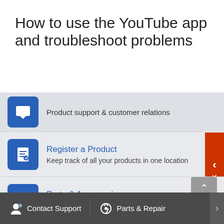How to use the YouTube app and troubleshoot problems
Product support & customer relations
Register a Product
Keep track of all your products in one location
Parts & Accessories
Product information and sales assistance
Community
A place where you can find solutions and ask questions
Contact Support   Parts & Repair